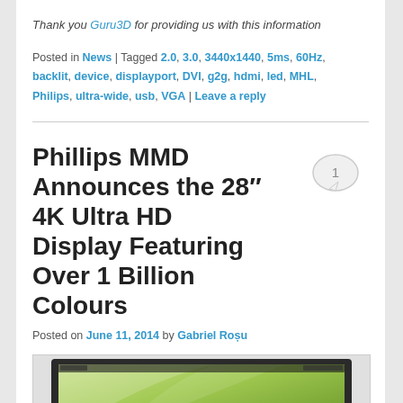Thank you Guru3D for providing us with this information
Posted in News | Tagged 2.0, 3.0, 3440x1440, 5ms, 60Hz, backlit, device, displayport, DVI, g2g, hdmi, led, MHL, Philips, ultra-wide, usb, VGA | Leave a reply
Phillips MMD Announces the 28″ 4K Ultra HD Display Featuring Over 1 Billion Colours
Posted on June 11, 2014 by Gabriel Roșu
[Figure (photo): Photo of a Philips 28-inch monitor displaying a green wallpaper]